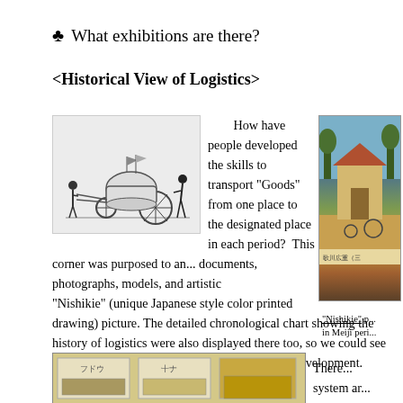♣  What exhibitions are there?
<Historical View of Logistics>
[Figure (illustration): Line drawing of a historical Japanese cart pulled by two figures]
How have people developed the skills to transport "Goods" from one place to the designated place in each period?  This corner was purposed to an... documents, photographs, models, and artistic "Nishikie" (unique Japanese style color printed drawing) picture. The detailed chronological chart showing the history of logistics were also displayed there too, so we could see well the transition of means of logistics and its development.
[Figure (photo): Photo of a Nishikie print showing a traditional Japanese scene in Meiji period]
"Nishikie" p... in Meiji peri...
[Figure (photo): Photo of exhibition display with Japanese text panels]
There... system ar...